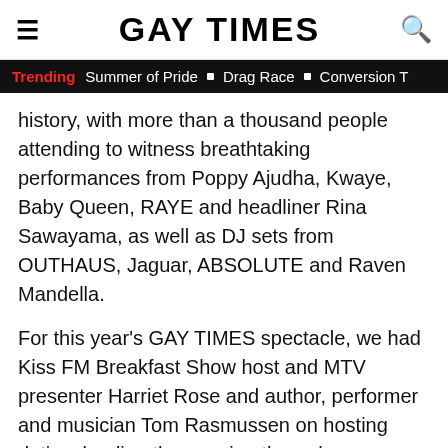GAY TIMES
Trending  Summer of Pride  ■  Drag Race  ■  Conversion T
history, with more than a thousand people attending to witness breathtaking performances from Poppy Ajudha, Kwaye, Baby Queen, RAYE and headliner Rina Sawayama, as well as DJ sets from OUTHAUS, Jaguar, ABSOLUTE and Raven Mandella.
For this year's GAY TIMES spectacle, we had Kiss FM Breakfast Show host and MTV presenter Harriet Rose and author, performer and musician Tom Rasmussen on hosting duties, leading the evening through performances, inspirational speeches and plenty of laughs.
[Figure (other): BitLife Real Choices advertisement banner with emojis (devil, woman with arms raised, angel winking face) on red background with yellow BitLife logo text and dark Real Choices box]
Ellie